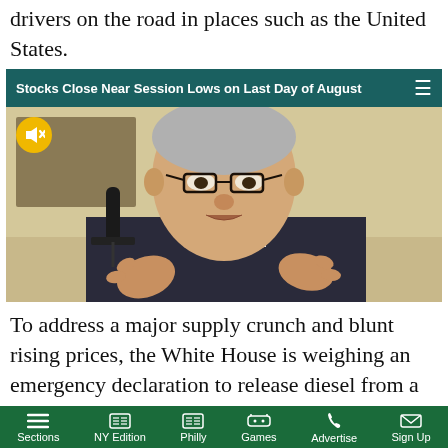drivers on the road in places such as the United States.
Stocks Close Near Session Lows on Last Day of August
[Figure (photo): Federal Reserve Chair Jerome Powell testifying, wearing glasses and a dark suit, gesturing with hands, in front of a microphone]
To address a major supply crunch and blunt rising prices, the White House is weighing an emergency declaration to release diesel from a rarely used
Sections  NY Edition  Philly  Games  Advertise  Sign Up